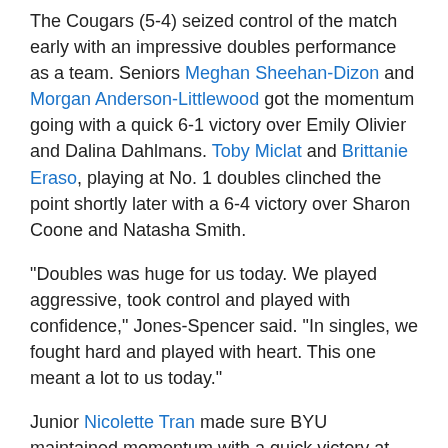The Cougars (5-4) seized control of the match early with an impressive doubles performance as a team. Seniors Meghan Sheehan-Dizon and Morgan Anderson-Littlewood got the momentum going with a quick 6-1 victory over Emily Olivier and Dalina Dahlmans. Toby Miclat and Brittanie Eraso, playing at No. 1 doubles clinched the point shortly later with a 6-4 victory over Sharon Coone and Natasha Smith.
"Doubles was huge for us today. We played aggressive, took control and played with confidence," Jones-Spencer said. "In singles, we fought hard and played with heart. This one meant a lot to us today."
Junior Nicolette Tran made sure BYU maintained momentum with a quick victory at No. 2 singles. Tran beat Meredith Hopson 6-1, 6-3 to give the Cougars a 2-0 lead in the match. Playing at No. 1 singles, Sheehan-Dizon fought hard to a 7-6, 7-6 win against Smith. Savannah Ware fell at